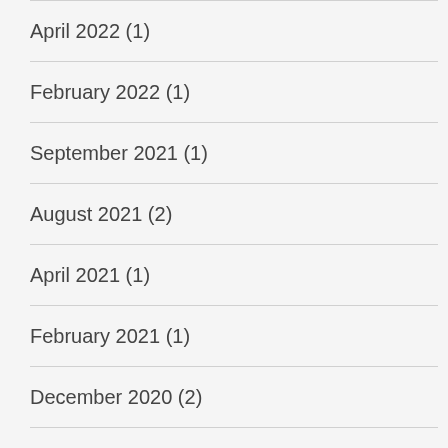April 2022 (1)
February 2022 (1)
September 2021 (1)
August 2021 (2)
April 2021 (1)
February 2021 (1)
December 2020 (2)
October 2020 (1)
June 2020 (1)